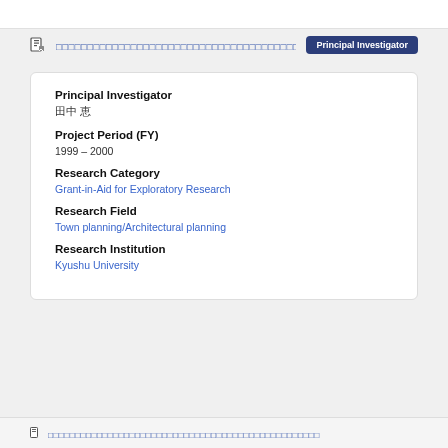Principal Investigator
Principal Investigator
田中 恵
Project Period (FY)
1999 – 2000
Research Category
Grant-in-Aid for Exploratory Research
Research Field
Town planning/Architectural planning
Research Institution
Kyushu University